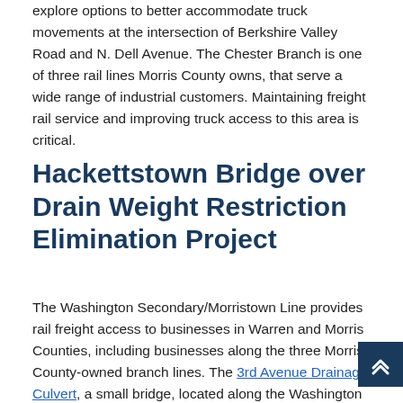explore options to better accommodate truck movements at the intersection of Berkshire Valley Road and N. Dell Avenue. The Chester Branch is one of three rail lines Morris County owns, that serve a wide range of industrial customers. Maintaining freight rail service and improving truck access to this area is critical.
Hackettstown Bridge over Drain Weight Restriction Elimination Project
The Washington Secondary/Morristown Line provides rail freight access to businesses in Warren and Morris Counties, including businesses along the three Morris County-owned branch lines. The 3rd Avenue Drainage Culvert, a small bridge, located along the Washington